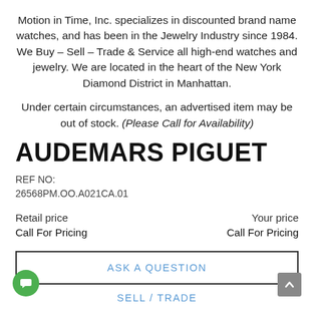Motion in Time, Inc. specializes in discounted brand name watches, and has been in the Jewelry Industry since 1984. We Buy – Sell – Trade & Service all high-end watches and jewelry. We are located in the heart of the New York Diamond District in Manhattan.
Under certain circumstances, an advertised item may be out of stock. (Please Call for Availability)
AUDEMARS PIGUET
REF NO:
26568PM.OO.A021CA.01
Retail price
Call For Pricing
Your price
Call For Pricing
ASK A QUESTION
SELL / TRADE